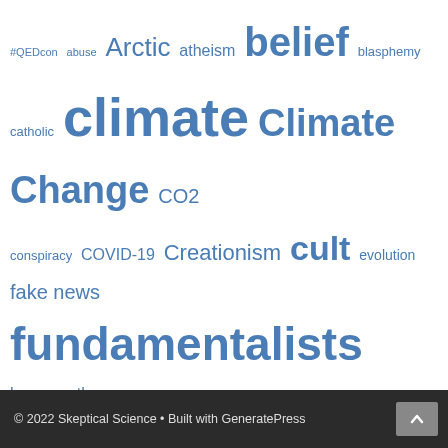[Figure (infographic): Tag cloud with terms related to skeptical science topics in various font sizes, all in blue. Terms include: #QEDcon, abuse, Arctic, atheism, belief, blasphemy, catholic, climate, Climate Change, CO2, conspiracy, COVID-19, Creationism, cult, evolution, fake news, fundamentalists, homeopathy, human rights, islam, Ken Ham, law, mars, NASA, nobel, prize, Pakistan, politics, poll, religion, report, richard dawkins, right-wing, Saudi Arabia, science, sea ice, sea level, study, trump, UK, US, vaccines, violence, weird, weird religious news, wingnut]
© 2022 Skeptical Science • Built with GeneratePress